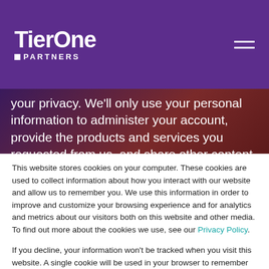Tier One Partners
your privacy. We'll only use your personal information to administer your account, provide the products and services you requested from us, and share other content that may be of interest to you. You may unsubscribe from these
This website stores cookies on your computer. These cookies are used to collect information about how you interact with our website and allow us to remember you. We use this information in order to improve and customize your browsing experience and for analytics and metrics about our visitors both on this website and other media. To find out more about the cookies we use, see our Privacy Policy.
If you decline, your information won't be tracked when you visit this website. A single cookie will be used in your browser to remember your preference not to be tracked.
Accept
Decline